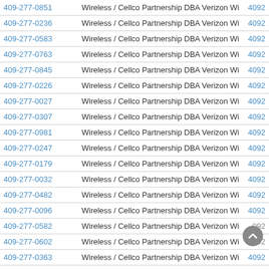| Phone | Carrier | Code |
| --- | --- | --- |
| 409-277-0851 | Wireless / Cellco Partnership DBA Verizon Wireless | 4092 |
| 409-277-0236 | Wireless / Cellco Partnership DBA Verizon Wireless | 4092 |
| 409-277-0583 | Wireless / Cellco Partnership DBA Verizon Wireless | 4092 |
| 409-277-0763 | Wireless / Cellco Partnership DBA Verizon Wireless | 4092 |
| 409-277-0845 | Wireless / Cellco Partnership DBA Verizon Wireless | 4092 |
| 409-277-0226 | Wireless / Cellco Partnership DBA Verizon Wireless | 4092 |
| 409-277-0027 | Wireless / Cellco Partnership DBA Verizon Wireless | 4092 |
| 409-277-0307 | Wireless / Cellco Partnership DBA Verizon Wireless | 4092 |
| 409-277-0981 | Wireless / Cellco Partnership DBA Verizon Wireless | 4092 |
| 409-277-0247 | Wireless / Cellco Partnership DBA Verizon Wireless | 4092 |
| 409-277-0179 | Wireless / Cellco Partnership DBA Verizon Wireless | 4092 |
| 409-277-0032 | Wireless / Cellco Partnership DBA Verizon Wireless | 4092 |
| 409-277-0482 | Wireless / Cellco Partnership DBA Verizon Wireless | 4092 |
| 409-277-0096 | Wireless / Cellco Partnership DBA Verizon Wireless | 4092 |
| 409-277-0582 | Wireless / Cellco Partnership DBA Verizon Wireless | 4092 |
| 409-277-0602 | Wireless / Cellco Partnership DBA Verizon Wireless | 4092 |
| 409-277-0363 | Wireless / Cellco Partnership DBA Verizon Wireless | 4092 |
| 409-277-0123 | Wireless / Cellco Partnership DBA Verizon Wireless | 4092 |
| 409-277-0001 | Wireless / Cellco Partnership DBA Verizon Wireless | 4092 |